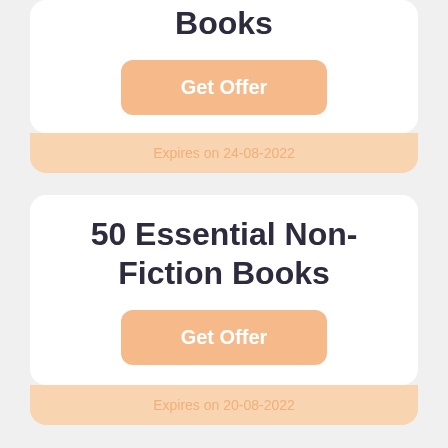Books
Get Offer
Expires on 24-08-2022
50 Essential Non-Fiction Books
Get Offer
Expires on 20-08-2022